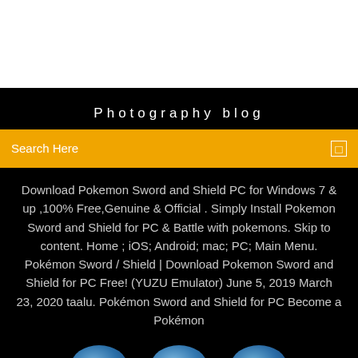Photography blog
Search Here
Download Pokemon Sword and Shield PC for Windows 7 & up ,100% Free,Genuine & Official . Simply Install Pokemon Sword and Shield for PC & Battle with pokemons. Skip to content. Home ; iOS; Android; mac; PC; Main Menu. Pokémon Sword / Shield | Download Pokemon Sword and Shield for PC Free! (YUZU Emulator) June 5, 2019 March 23, 2020 taalu. Pokémon Sword and Shield for PC Become a Pokémon
[Figure (illustration): Three blue circular shapes (tops of circles) visible at the bottom of a black background, resembling character heads]